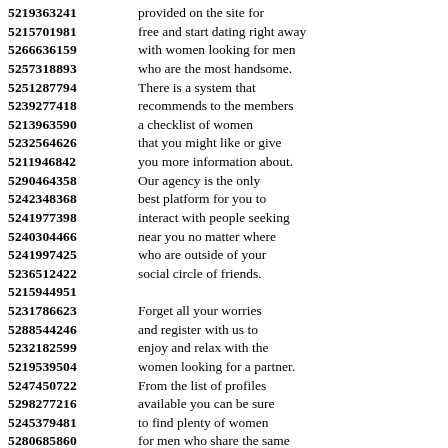5219363241  provided on the site for
5215701981  free and start dating right away
5266636159  with women looking for men
5257318893  who are the most handsome.
5251287794  There is a system that
5239277418  recommends to the members
5213963590  a checklist of women
5232564626  that you might like or give
5211946842  you more information about.
5290464358  Our agency is the only
5242348368  best platform for you to
5241977398  interact with people seeking
5240304466  near you no matter where
5241997425  who are outside of your
5236512422  social circle of friends.
5215944951
5231786623  Forget all your worries
5288544246  and register with us to
5232182599  enjoy and relax with the
5219539504  women looking for a partner.
5247450722  From the list of profiles
5298277216  available you can be sure
5245379481  to find plenty of women
5280685860  for men who share the same
5264320610  interests and expectations!